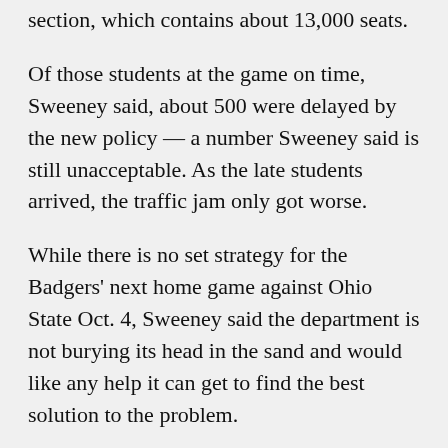section, which contains about 13,000 seats.
Of those students at the game on time, Sweeney said, about 500 were delayed by the new policy — a number Sweeney said is still unacceptable. As the late students arrived, the traffic jam only got worse.
While there is no set strategy for the Badgers' next home game against Ohio State Oct. 4, Sweeney said the department is not burying its head in the sand and would like any help it can get to find the best solution to the problem.
The lack of students arriving at games on time has angered many Badgers fans, especially those who did not receive tickets through the lottery system UW initiated for the first time this season.
UW junior Chelsea Weinfurtner said she transferred